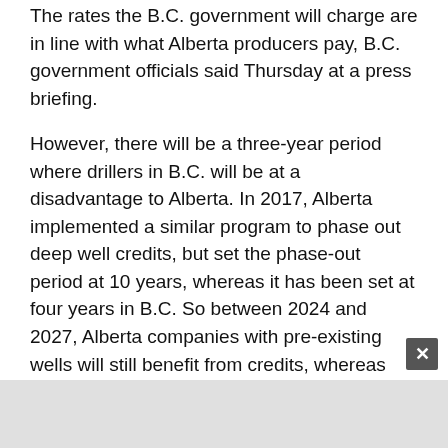The rates the B.C. government will charge are in line with what Alberta producers pay, B.C. government officials said Thursday at a press briefing.
However, there will be a three-year period where drillers in B.C. will be at a disadvantage to Alberta. In 2017, Alberta implemented a similar program to phase out deep well credits, but set the phase-out period at 10 years, whereas it has been set at four years in B.C. So between 2024 and 2027, Alberta companies with pre-existing wells will still benefit from credits, whereas B.C. companies won't.
That's unlikely to deter investment in B.C., however. B.C.'s Montney formation is rich in natural gas liquids (light oil, condensate, propane), and has new …